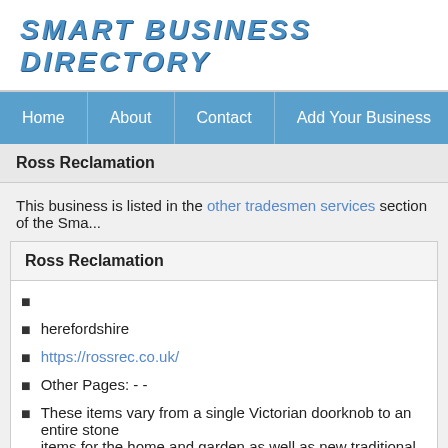SMART BUSINESS DIRECTORY
Home | About | Contact | Add Your Business | Members Login
Ross Reclamation
This business is listed in the other tradesmen services section of the Sma...
Ross Reclamation
herefordshire
https://rossrec.co.uk/
Other Pages: - -
These items vary from a single Victorian doorknob to an entire stone... items for the home and garden as well as new traditional building ma... sympathetically salvage all types of reclaimed materials and are able...
Also Listed In: other-tradesmen-services in Ross-on-Wye - herefords... Directory - other-tradesmen-services in herefordshire - other-tradesm...